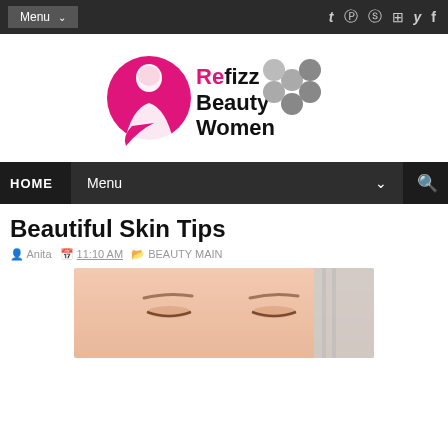Menu  t  (pinterest)  (skype)  (youtube)  (twitter)  f
[Figure (logo): Refizz Beauty Women logo with pink woman silhouette and honeycomb icon]
HOME  Menu  (search icon)
Beautiful Skin Tips
Anita  11:10 AM  BEAUTY MAIN
[Figure (photo): Close-up photo of a woman's face with closed eyes and smooth skin, holding a towel]